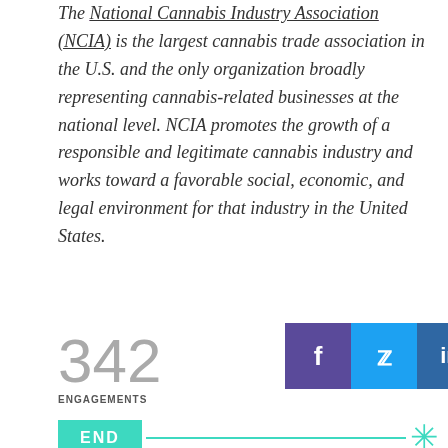The National Cannabis Industry Association (NCIA) is the largest cannabis trade association in the U.S. and the only organization broadly representing cannabis-related businesses at the national level. NCIA promotes the growth of a responsible and legitimate cannabis industry and works toward a favorable social, economic, and legal environment for that industry in the United States.
342 ENGAGEMENTS
[Figure (infographic): Social sharing buttons: Facebook (purple), Twitter (blue), LinkedIn (blue)]
END